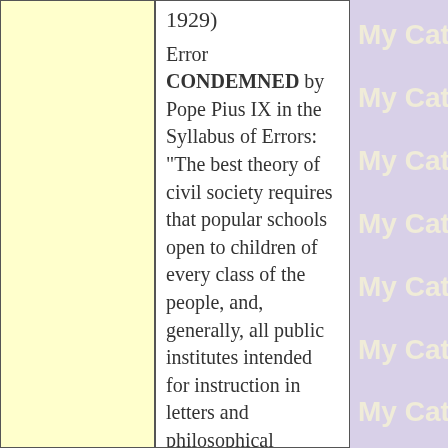1929)
Error CONDEMNED by Pope Pius IX in the Syllabus of Errors: "The best theory of civil society requires that popular schools open to children of every class of the people, and, generally, all public institutes intended for instruction in letters and philosophical sciences and for carrying on the education of youth, should be freed from all ecclesiastical authority, control and interference, and should be fully subjected to the civil
[Figure (other): Repeating 'My Catho' text watermark on purple/lavender background, partially cropped]